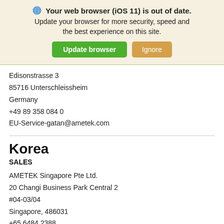[Figure (screenshot): Browser warning banner with globe icon, title 'Your web browser (iOS 11) is out of date.', subtitle text, and two buttons: 'Update browser' (green) and 'Ignore' (orange/tan).]
Edisonstrasse 3
85716 Unterschleissheim
Germany
+49 89 358 084 0
EU-Service-gatan@ametek.com
Korea
SALES
AMETEK Singapore Pte Ltd.
20 Changi Business Park Central 2
#04-03/04
Singapore, 486031
+65 6484 2388